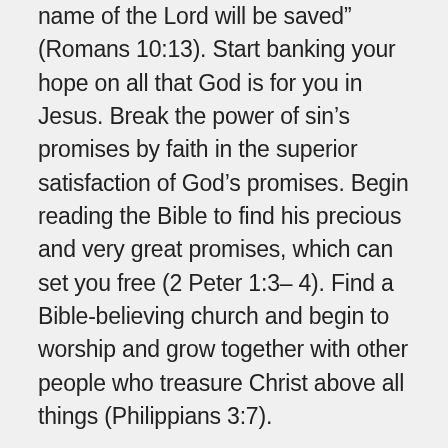name of the Lord will be saved" (Romans 10:13). Start banking your hope on all that God is for you in Jesus. Break the power of sin's promises by faith in the superior satisfaction of God's promises. Begin reading the Bible to find his precious and very great promises, which can set you free (2 Peter 1:3–4). Find a Bible-believing church and begin to worship and grow together with other people who treasure Christ above all things (Philippians 3:7).
The best news in the world is that there is no necessary conflict between our happiness and God's holiness. Being satisfied with all that God is for us in Jesus magnifies him